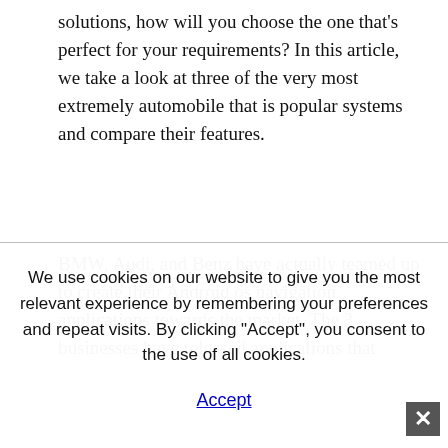solutions, how will you choose the one that's perfect for your requirements? In this article, we take a look at three of the very most extremely automobile that is popular systems and compare their features.
BMW, Audi, and Benz have actually teamed up to create their Android os navigation applications towards the market. The 3 businesses have released applications that
We use cookies on our website to give you the most relevant experience by remembering your preferences and repeat visits. By clicking "Accept", you consent to the use of all cookies.
Accept
amount of advantages. First, they enable drivers to stay based on the street with all the other devices, such as smart phones or tablets. This is important since it can
avoid accidents from occurring due to driver distraction.
Android os navigation has changed into a fundamental